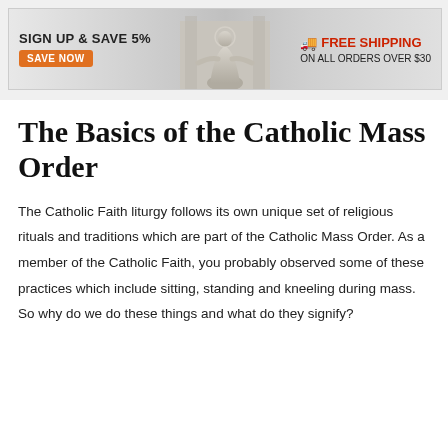[Figure (other): Advertisement banner: 'SIGN UP & SAVE 5%' with orange 'SAVE NOW' button on the left, a statue of Jesus Christ in the center, and 'FREE SHIPPING ON ALL ORDERS OVER $30' in red on the right.]
The Basics of the Catholic Mass Order
The Catholic Faith liturgy follows its own unique set of religious rituals and traditions which are part of the Catholic Mass Order. As a member of the Catholic Faith, you probably observed some of these practices which include sitting, standing and kneeling during mass. So why do we do these things and what do they signify?